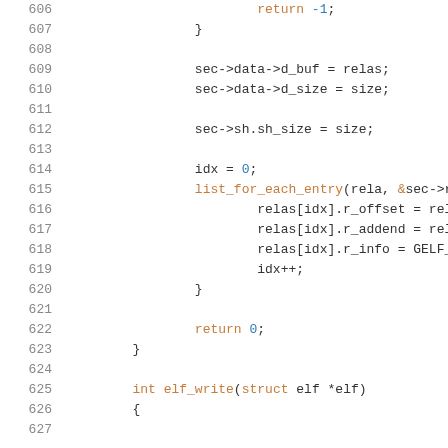Code listing lines 606-626+, C source code showing ELF write function implementation with rela list iteration
[Figure (screenshot): Source code viewer showing C code lines 606-626+ with syntax highlighting. Lines show return -1, closing brace, sec->data->d_buf = relas, sec->data->d_size = size, sec->sh.sh_size = size, idx = 0, list_for_each_entry loop with relas array assignments and idx++, closing brace, return 0, closing brace, blank line, int elf_write(struct elf *elf), opening brace.]